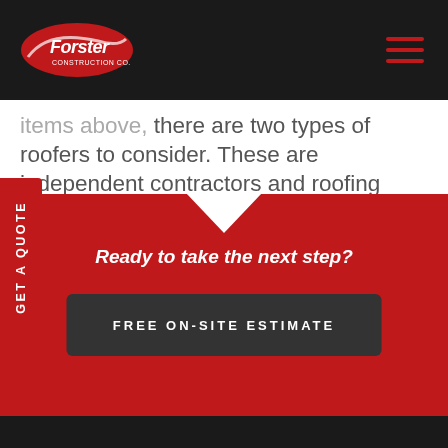Forster [logo] navigation bar
items above, there are two types of roofers to consider. These are independent contractors and roofing companies. There are advantages and disadvantages to both. Always compare bids for the best price and check Google roofer reviews, references, and qualifications.
Ready to take the next step?
FREE ON-SITE ESTIMATE